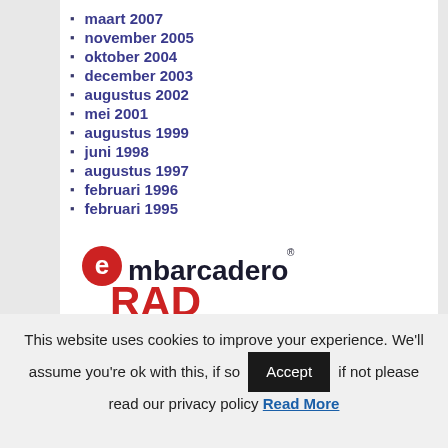maart 2007
november 2005
oktober 2004
december 2003
augustus 2002
mei 2001
augustus 1999
juni 1998
augustus 1997
februari 1996
februari 1995
[Figure (logo): Embarcadero logo with red circle 'e' and red RAD text below]
This website uses cookies to improve your experience. We'll assume you're ok with this, if so [Accept] if not please read our privacy policy Read More